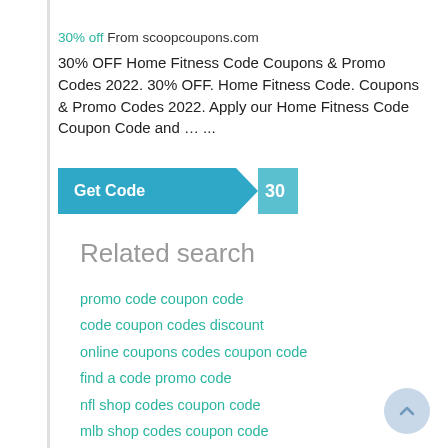30% off From scoopcoupons.com
30% OFF Home Fitness Code Coupons & Promo Codes 2022. 30% OFF. Home Fitness Code. Coupons & Promo Codes 2022. Apply our Home Fitness Code Coupon Code and … ...
[Figure (other): Get Code button with teal background and clipped arrow shape, showing code reveal '30']
Related search
promo code coupon code
code coupon codes discount
online coupons codes coupon code
find a code promo code
nfl shop codes coupon code
mlb shop codes coupon code
online fitness coupon
at home discount code